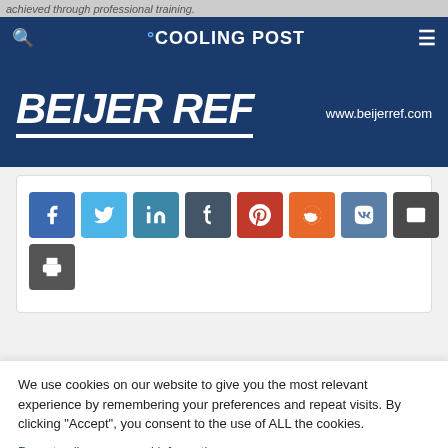achieved through professional training.
COOLING POST
[Figure (logo): Beijer Ref logo banner with white italic bold text 'BEIJER REF' on dark blue background and website www.beijerref.com]
[Figure (infographic): Social share buttons: Facebook, Twitter, LinkedIn, Tumblr, Pinterest, Reddit, VK, Email, Print]
We use cookies on our website to give you the most relevant experience by remembering your preferences and repeat visits. By clicking “Accept”, you consent to the use of ALL the cookies.
Do not sell my personal information.